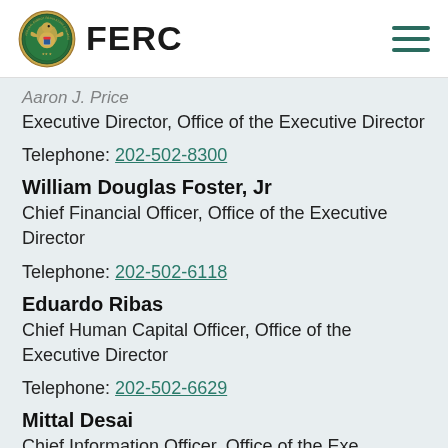FERC
Aaron J. Price
Executive Director, Office of the Executive Director
Telephone: 202-502-8300
William Douglas Foster, Jr
Chief Financial Officer, Office of the Executive Director
Telephone: 202-502-6118
Eduardo Ribas
Chief Human Capital Officer, Office of the Executive Director
Telephone: 202-502-6629
Mittal Desai
Chief Information Officer, Office of the Executive Director